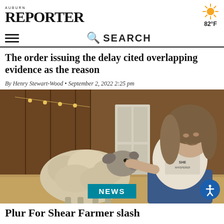AUBURN REPORTER
82°F
SEARCH
The order issuing the delay cited overlapping evidence as the reason
By Henry Stewart-Wood • September 2, 2022 2:25 pm
[Figure (photo): A woman wearing a 'Sheep Whisperer' t-shirt sitting in a barn petting a sheep's face. The barn has wooden beams and string lights visible in the background.]
NEWS
Plur For Sheer Farmer slash